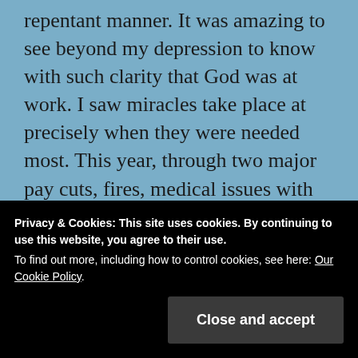repentant manner. It was amazing to see beyond my depression to know with such clarity that God was at work. I saw miracles take place at precisely when they were needed most. This year, through two major pay cuts, fires, medical issues with my kids, cars breaking down, increased bills, and other monumental issues; I saw Gods amazing hand at work. I learned to be grateful to Him, thankful as He helped us over every little
Privacy & Cookies: This site uses cookies. By continuing to use this website, you agree to their use. To find out more, including how to control cookies, see here: Our Cookie Policy